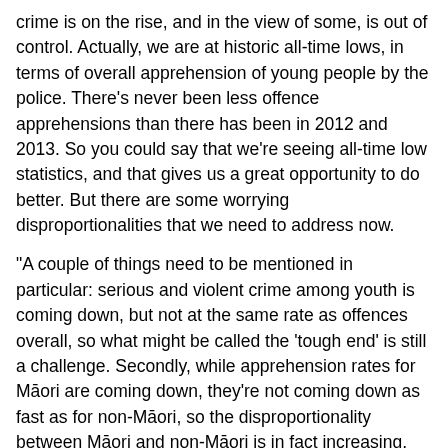crime is on the rise, and in the view of some, is out of control. Actually, we are at historic all-time lows, in terms of overall apprehension of young people by the police. There's never been less offence apprehensions than there has been in 2012 and 2013. So you could say that we're seeing all-time low statistics, and that gives us a great opportunity to do better. But there are some worrying disproportionalities that we need to address now.
"A couple of things need to be mentioned in particular: serious and violent crime among youth is coming down, but not at the same rate as offences overall, so what might be called the 'tough end' is still a challenge. Secondly, while apprehension rates for Māori are coming down, they're not coming down as fast as for non-Māori, so the disproportionality between Māori and non-Māori is in fact increasing, and that's conceming. Thirdly the rate of offending for females is coming down, but not as fast as the overall rate, especially for female violent offending."
Another statistic that would seem to go against media coverage on the topic is the declining proportion of youth crime to overall crime. Judge Becroft relates that for the first decade of his career, it was a given that youth offending made up 22–23 per cent of New